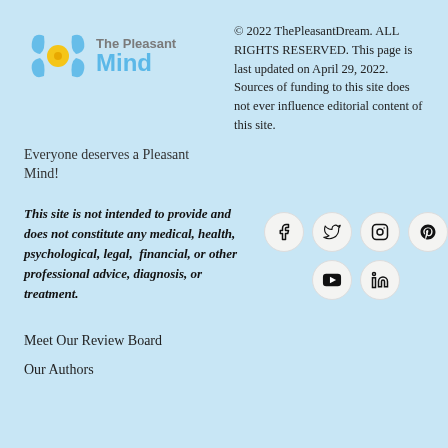[Figure (logo): The Pleasant Mind logo with blue swirl/floral icon and text 'The Pleasant Mind']
© 2022 ThePleasantDream. ALL RIGHTS RESERVED. This page is last updated on April 29, 2022. Sources of funding to this site does not ever influence editorial content of this site.
Everyone deserves a Pleasant Mind!
This site is not intended to provide and does not constitute any medical, health, psychological, legal, financial, or other professional advice, diagnosis, or treatment.
[Figure (illustration): Social media icons: Facebook, Twitter, Instagram, Pinterest, YouTube, LinkedIn — each in a light circular button]
Meet Our Review Board
Our Authors